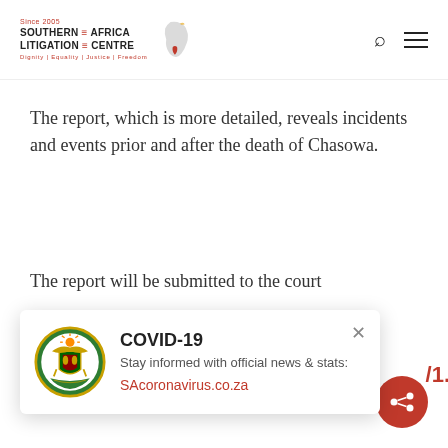Since 2005 SOUTHERN AFRICA LITIGATION CENTRE Dignity | Equality | Justice | Freedom
The report, which is more detailed, reveals incidents and events prior and after the death of Chasowa.
The report will be submitted to the court
[Figure (screenshot): COVID-19 popup overlay with South African coat of arms, text 'COVID-19', 'Stay informed with official news & stats:', and link 'SAcoronavirus.co.za' with a close X button]
murder-mutharika-masangwi-implicated/